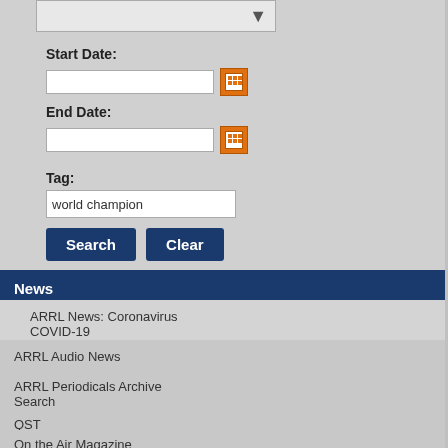[Figure (screenshot): Dropdown selector bar with arrow]
Start Date:
[Figure (screenshot): Text input field for start date with calendar icon]
End Date:
[Figure (screenshot): Text input field for end date with calendar icon]
Tag:
[Figure (screenshot): Text input field with value 'world champion']
[Figure (screenshot): Search and Clear buttons]
News
ARRL News: Coronavirus COVID-19
ARRL Audio News
ARRL Periodicals Archive Search
QST
On the Air Magazine
QEX
NCJ
Learn More
[Figure (photo): Athlete wrapped in US flag standing on podium with number 1]
FEATURE
09/19/2012 | A...
Medals for AR...
USA is now a serio... Championships.
Learn More
[Figure (photo): Group of people outdoors, team photo]
FEATURE
09/27/2010 | A...
USA at the 20...
The 15th ARDF W... USA members sto...
Learn More
[Figure (photo): Person running through woods/stream]
FEATURE
07/24/2010 | A...
Their Champi...
No shack potatoes... to the beautiful wo... transmitters and m...
Learn More